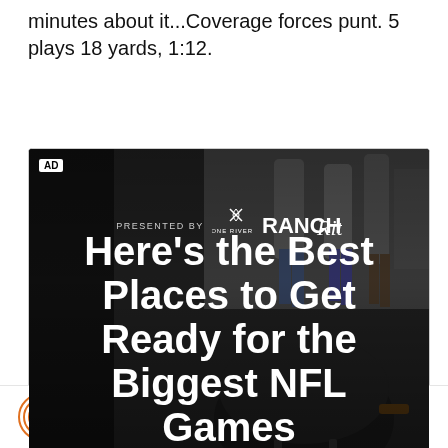minutes about it...Coverage forces punt. 5 plays 18 yards, 1:12.
[Figure (advertisement): Advertisement banner presented by Ranch Rita showing a BBQ grill with headline 'Here's the Best Places to Get Ready for the Biggest NFL Games']
Site logo icon and social media icons (Twitter, Facebook)